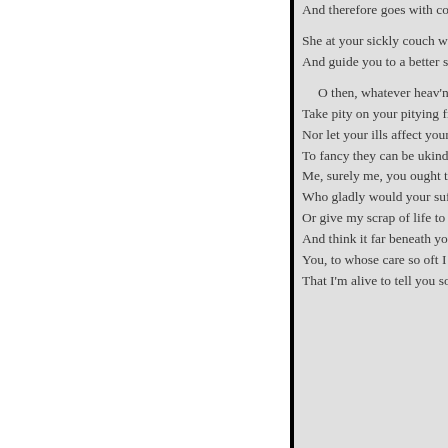And therefore goes with co...

She at your sickly couch wi...
And guide you to a better st...

  O then, whatever heav'n in...
Take pity on your pitying fr...
Nor let your ills affect your...
To fancy they can be ukind...
Me, surely me, you ought t...
Who gladly would your suf...
Or give my scrap of life to y...
And think it far beneath you...
You, to whose care so oft I o...
That I'm alive to tell you so...